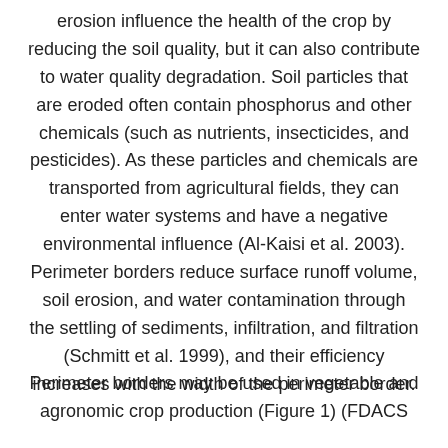erosion influence the health of the crop by reducing the soil quality, but it can also contribute to water quality degradation. Soil particles that are eroded often contain phosphorus and other chemicals (such as nutrients, insecticides, and pesticides). As these particles and chemicals are transported from agricultural fields, they can enter water systems and have a negative environmental influence (Al-Kaisi et al. 2003). Perimeter borders reduce surface runoff volume, soil erosion, and water contamination through the settling of sediments, infiltration, and filtration (Schmitt et al. 1999), and their efficiency increases with the width of the perimeter border.
Perimeter borders may be used in vegetable and agronomic crop production (Figure 1) (FDACS